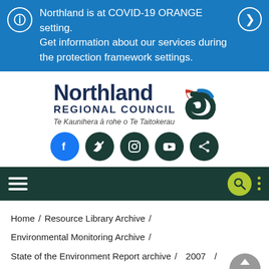Northland is at COVID-19 ORANGE setting. Get information about our services during the protection framework settings.
[Figure (logo): Northland Regional Council logo with stylized wave/koru icon, tagline Te Kaunihera ā rohe o Te Taitokerau]
[Figure (infographic): Social media icons row: Facebook (blue), Twitter (dark), Instagram (dark), YouTube (dark), Share (dark)]
[Figure (infographic): Navigation bar with hamburger menu, search button, and more options button]
Home / Resource Library Archive / Environmental Monitoring Archive / State of the Environment Report archive / 2007 / State of the Environment Monitoring /